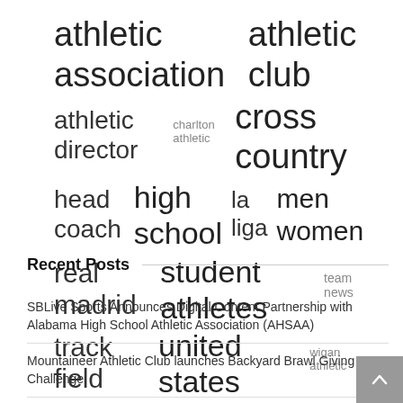[Figure (other): Tag cloud with terms of varying sizes related to athletics: 'athletic association', 'athletic club' (extra large); 'athletic director', 'charlton athletic', 'cross country' (large/small mix); 'head coach', 'high school', 'la liga', 'men women' (large); 'real madrid', 'student athletes', 'team news' (large/small); 'track field', 'united states', 'wigan athletic' (large/small)]
Recent Posts
SBLive Sports Announces Digital Content Partnership with Alabama High School Athletic Association (AHSAA)
Mountaineer Athletic Club launches Backyard Brawl Giving Challenge
Ashley Wade named head coach of UNCW Softball